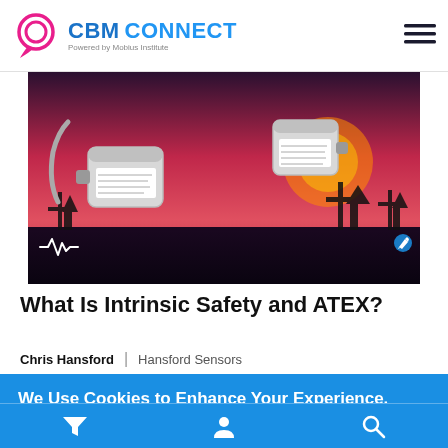CBM CONNECT — Powered by Mobius Institute
[Figure (photo): Industrial sensor equipment (vibration sensors/accelerometers) with white labeling, set against a dramatic red/pink industrial sunset background with oil pump jacks silhouetted. Waveform icon and pencil edit icon overlaid.]
What Is Intrinsic Safety and ATEX?
Chris Hansford | Hansford Sensors
We Use Cookies to Enhance Your Experience.
By using this site you agree to our use of cookies. You are free to manage this via your browser setting at any time. To learn more about how we use the cookies please see our cookies policy.
Accept & Close
Filter | User | Search